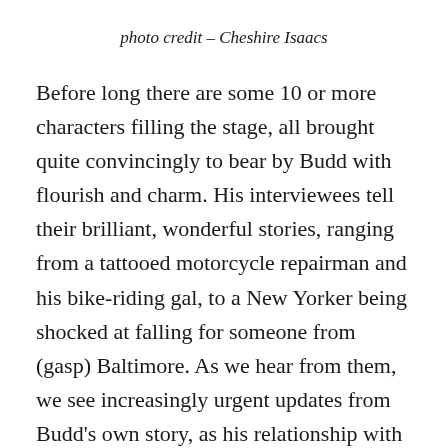photo credit – Cheshire Isaacs
Before long there are some 10 or more characters filling the stage, all brought quite convincingly to bear by Budd with flourish and charm. His interviewees tell their brilliant, wonderful stories, ranging from a tattooed motorcycle repairman and his bike-riding gal, to a New Yorker being shocked at falling for someone from (gasp) Baltimore. As we hear from them, we see increasingly urgent updates from Budd's own story, as his relationship with his would-be beloved hits some unexpected